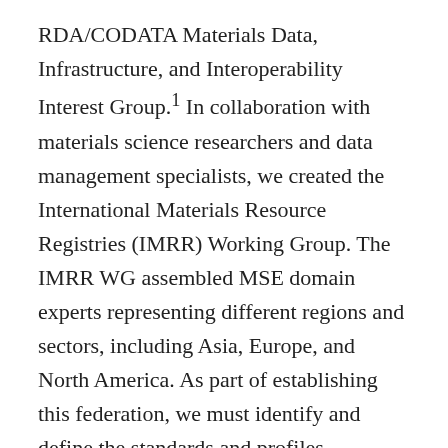RDA/CODATA Materials Data, Infrastructure, and Interoperability Interest Group.¹ In collaboration with materials science researchers and data management specialists, we created the International Materials Resource Registries (IMRR) Working Group. The IMRR WG assembled MSE domain experts representing different regions and sectors, including Asia, Europe, and North America. As part of establishing this federation, we must identify and define the standards and profiles necessary to operate in an open and scalable way. This paper reports on the output of that working group.
This working group's largest accomplishment and its approach to data discovery was the development of a